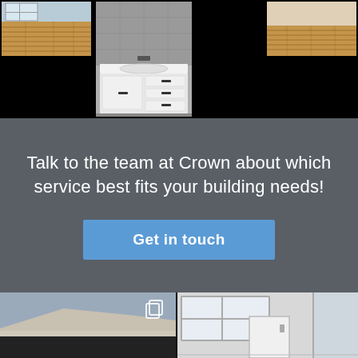[Figure (photo): Three interior/exterior home photos arranged across the top on black background: left shows wooden flooring room, center shows bathroom vanity with white cabinet, right shows wooden flooring room]
Talk to the team at Crown about which service best fits your building needs!
[Figure (other): Blue call-to-action button labeled 'Get in touch']
[Figure (photo): Two home photos at the bottom: left shows modern home exterior with flat roof and dark wall, right shows interior hallway/bathroom with window and glass shower screen]